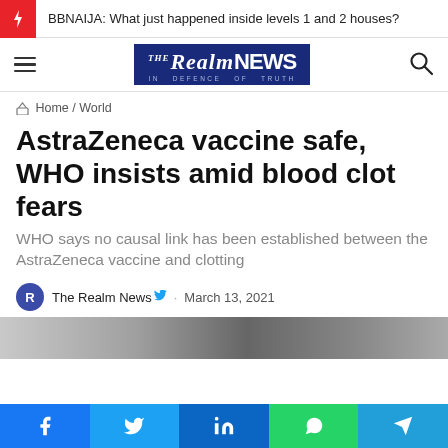BBNAIJA: What just happened inside levels 1 and 2 houses?
[Figure (logo): The Realm News logo - blue background with white italic serif text]
Home / World
AstraZeneca vaccine safe, WHO insists amid blood clot fears
WHO says no causal link has been established between the AstraZeneca vaccine and clotting
The Realm News · March 13, 2021
[Figure (photo): Partial image of a person, cropped at bottom of page]
Social share bar: Facebook, Twitter, LinkedIn, WhatsApp, Telegram